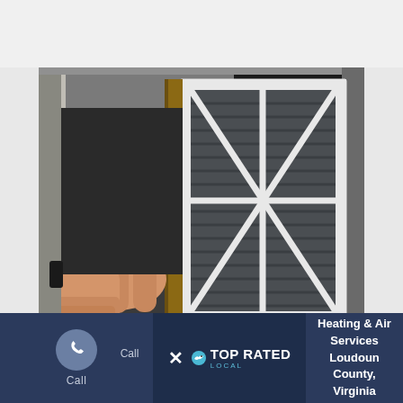[Figure (photo): A hand pulling out a dirty HVAC air filter from a large air handling unit. The filter has a white frame with X-pattern supports and dark gray/black accumulated dust on pleated media. Metal ductwork and insulation visible in background.]
[Figure (logo): Top Rated Local logo with bird icon and stylized text. Displayed in the footer bar alongside a phone call button and service description.]
Call
Heating & Air Services Loudoun County, Virginia